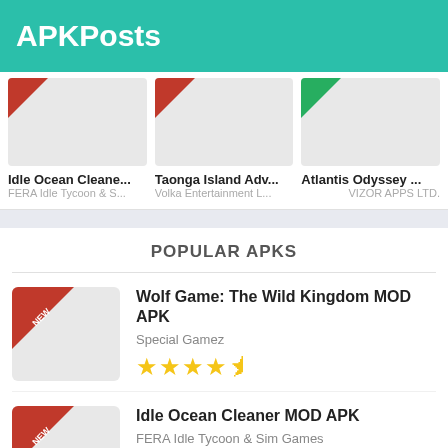APKPosts
[Figure (screenshot): App card thumbnail placeholder for Idle Ocean Cleane... with red ribbon]
Idle Ocean Cleane...
FERA Idle Tycoon & S...
[Figure (screenshot): App card thumbnail placeholder for Taonga Island Adv... with red ribbon]
Taonga Island Adv...
Volka Entertainment L...
[Figure (screenshot): App card thumbnail placeholder for Atlantis Odyssey ... with green ribbon]
Atlantis Odyssey ...
VIZOR APPS LTD.
POPULAR APKS
[Figure (screenshot): App thumbnail placeholder for Wolf Game with NEW ribbon]
Wolf Game: The Wild Kingdom MOD APK
Special Gamez
★★★★½
[Figure (screenshot): App thumbnail placeholder for Idle Ocean Cleaner with NEW ribbon]
Idle Ocean Cleaner MOD APK
FERA Idle Tycoon & Sim Games
★★★★½